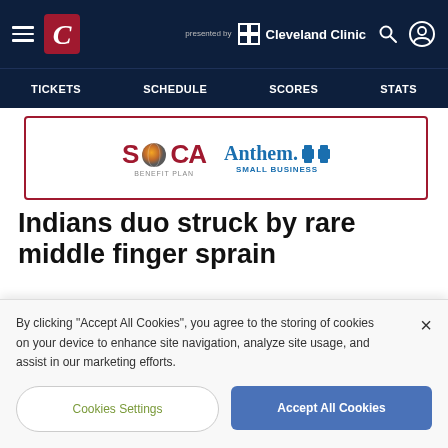Cleveland Guardians navigation — presented by Cleveland Clinic
[Figure (screenshot): SOCA Benefit Plan and Anthem Blue Cross Blue Shield Small Business advertisement banner]
Indians duo struck by rare middle finger sprain
Kluber and McAllister are the latest Tribe
By clicking "Accept All Cookies", you agree to the storing of cookies on your device to enhance site navigation, analyze site usage, and assist in our marketing efforts.